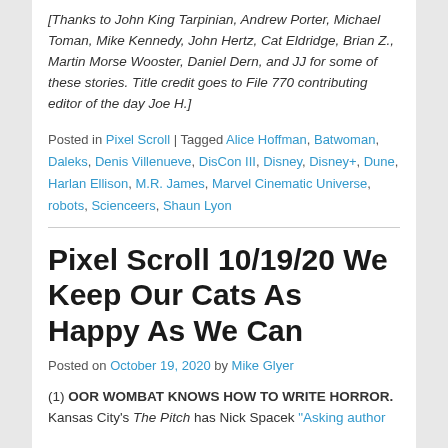[Thanks to John King Tarpinian, Andrew Porter, Michael Toman, Mike Kennedy, John Hertz, Cat Eldridge, Brian Z., Martin Morse Wooster, Daniel Dern, and JJ for some of these stories. Title credit goes to File 770 contributing editor of the day Joe H.]
Posted in Pixel Scroll | Tagged Alice Hoffman, Batwoman, Daleks, Denis Villenueve, DisCon III, Disney, Disney+, Dune, Harlan Ellison, M.R. James, Marvel Cinematic Universe, robots, Scienceers, Shaun Lyon
Pixel Scroll 10/19/20 We Keep Our Cats As Happy As We Can
Posted on October 19, 2020 by Mike Glyer
(1) OOR WOMBAT KNOWS HOW TO WRITE HORROR. Kansas City's The Pitch has Nick Spacek "Asking author